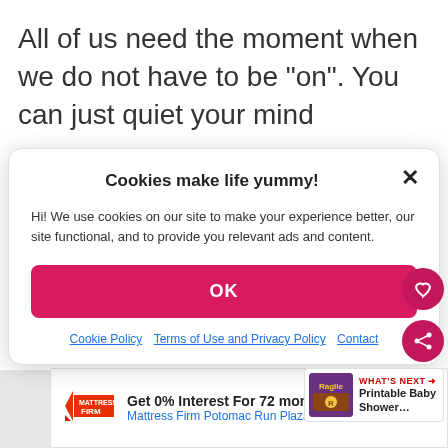All of us need the moment when we do not have to be “on”. You can just quiet your mind
[Figure (screenshot): Cookie consent modal dialog with title 'Cookies make life yummy!', body text about cookie usage, a pink OK button, and links to Cookie Policy, Terms of Use and Privacy Policy, and Contact. Also includes heart and share floating buttons, and a 'What's Next' card showing 'Printable Baby Shower...']
[Figure (screenshot): Advertisement banner: 'Get 0% Interest For 72 months' with Mattress Firm logo, 'Mattress Firm Potomac Run Plaza', navigation icon, and WiFi/signal icons]